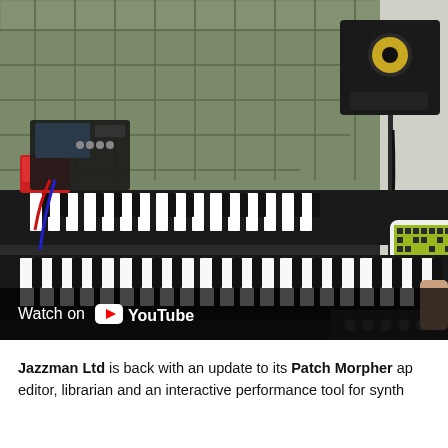[Figure (screenshot): YouTube video thumbnail showing a music studio with synthesizers/keyboards, a tablet displaying a sequencer app, studio monitor speaker on a stand, and a YouTube play button overlay. Bottom bar reads 'Watch on YouTube'.]
Jazzman Ltd is back with an update to its Patch Morpher ap editor, librarian and an interactive performance tool for synth